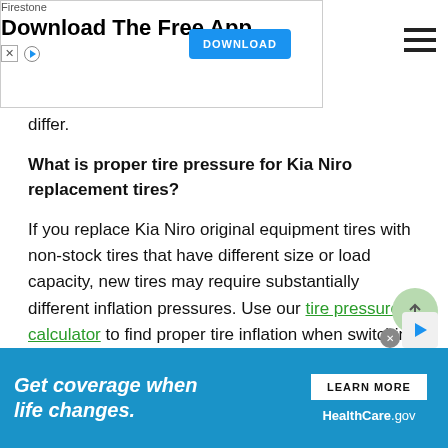[Figure (screenshot): Firestone Download The Free App advertisement banner with DOWNLOAD button]
differ.
What is proper tire pressure for Kia Niro replacement tires?
If you replace Kia Niro original equipment tires with non-stock tires that have different size or load capacity, new tires may require substantially different inflation pressures. Use our tire pressure calculator to find proper tire inflation when switching to a different tire size.
What is recommended winter tire pressure for Kia Niro?
[Figure (screenshot): HealthCare.gov Get coverage when life changes advertisement banner with LEARN MORE button]